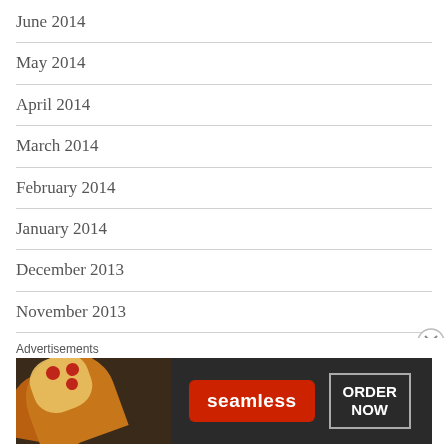June 2014
May 2014
April 2014
March 2014
February 2014
January 2014
December 2013
November 2013
October 2013
September 2013
August 2013
Advertisements
[Figure (screenshot): Seamless food delivery advertisement banner showing pizza and ORDER NOW button]